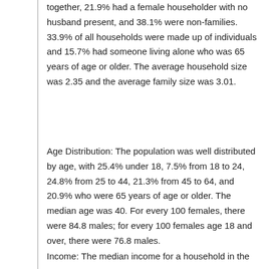together, 21.9% had a female householder with no husband present, and 38.1% were non-families. 33.9% of all households were made up of individuals and 15.7% had someone living alone who was 65 years of age or older. The average household size was 2.35 and the average family size was 3.01.
Age Distribution: The population was well distributed by age, with 25.4% under 18, 7.5% from 18 to 24, 24.8% from 25 to 44, 21.3% from 45 to 64, and 20.9% who were 65 years of age or older. The median age was 40. For every 100 females, there were 84.8 males; for every 100 females age 18 and over, there were 76.8 males.
Income: The median income for a household in the